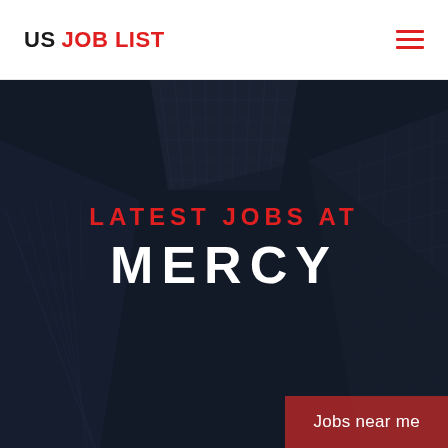US JOB LIST
[Figure (photo): Hero background image showing dark-toned architectural photo of modern skyscrapers viewed from ground level looking up, with a dark blue-grey overlay]
LATEST JOBS AT MERCY
Jobs near me